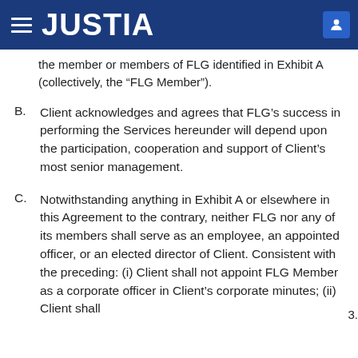JUSTIA
the member or members of FLG identified in Exhibit A (collectively, the “FLG Member”).
B.	Client acknowledges and agrees that FLG’s success in performing the Services hereunder will depend upon the participation, cooperation and support of Client’s most senior management.
C.	Notwithstanding anything in Exhibit A or elsewhere in this Agreement to the contrary, neither FLG nor any of its members shall serve as an employee, an appointed officer, or an elected director of Client. Consistent with the preceding: (i) Client shall not appoint FLG Member as a corporate officer in Client’s corporate minutes; (ii) Client shall
3.